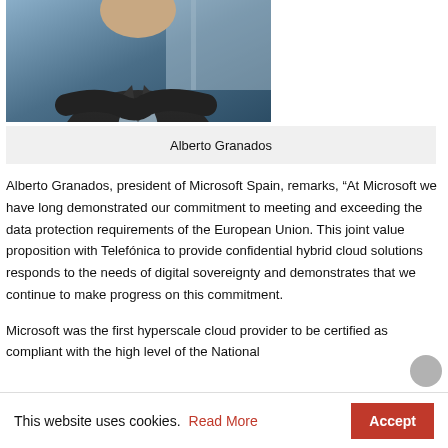[Figure (photo): Partial image of a man in a dark suit with arms crossed, cropped at the shoulders/chest area, office or window background]
Alberto Granados
Alberto Granados, president of Microsoft Spain, remarks, “At Microsoft we have long demonstrated our commitment to meeting and exceeding the data protection requirements of the European Union. This joint value proposition with Telefónica to provide confidential hybrid cloud solutions responds to the needs of digital sovereignty and demonstrates that we continue to make progress on this commitment.
Microsoft was the first hyperscale cloud provider to be certified as compliant with the high level of the National
This website uses cookies. Read More Accept